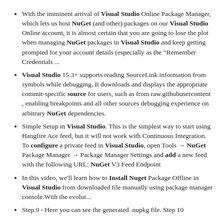With the imminent arrival of Visual Studio Online Package Manager, which lets us host NuGet (and other) packages on our Visual Studio Online account, it is almost certain that you are going to lose the plot when managing NuGet packages in Visual Studio and keep getting prompted for your account details (especially as the “Remember Credentials ...
Visual Studio 15.3+ supports reading SourceLink information from symbols while debugging. It downloads and displays the appropriate commit-specific source for users, such as from raw.githubusercontent , enabling breakpoints and all other sources debugging experience on arbitrary NuGet dependencies.
Simple Setup in Visual Studio. This is the simplest way to start using Hangfire Ace feed, but it will not work with Continuous Integration. To configure a private feed in Visual Studio, open Tools → NuGet Package Manager → Package Manager Settings and add a new feed with the following URL: NuGet V3 Feed Endpoint
In this video, we'll learn how to Install Nuget Package Offline in Visual Studio from downloaded file manually using package manager console.With the evolut...
Step 9 - Here you can see the generated .nupkg file. Step 10